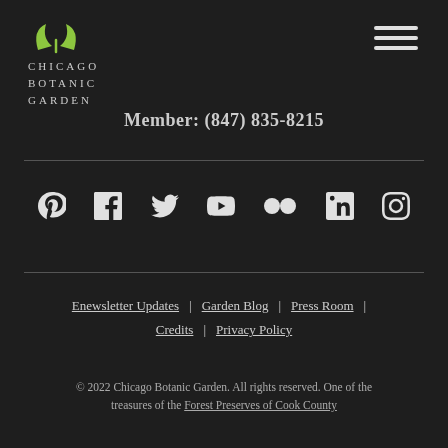[Figure (logo): Chicago Botanic Garden logo with green leaf/sprout icon above the text CHICAGO BOTANIC GARDEN in spaced serif letters]
Member: (847) 835-8215
[Figure (infographic): Row of 7 social media icons: Pinterest, Facebook, Twitter, YouTube, Flickr, LinkedIn, Instagram]
Enewsletter Updates | Garden Blog | Press Room | Credits | Privacy Policy
© 2022 Chicago Botanic Garden. All rights reserved. One of the treasures of the Forest Preserves of Cook County